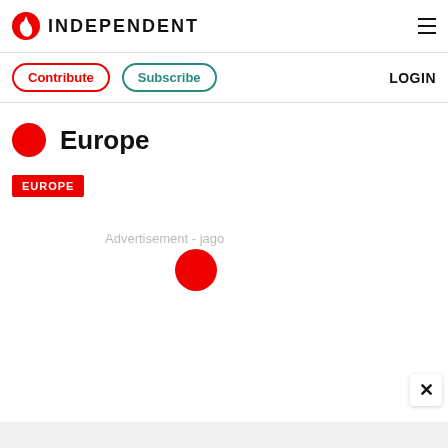INDEPENDENT
Contribute  Subscribe  LOGIN
Europe
EUROPE
Advertisement - jago